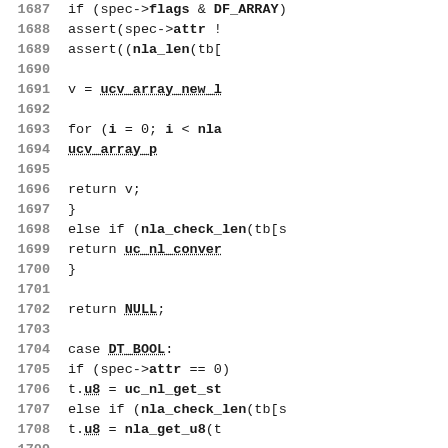[Figure (screenshot): Source code listing, lines 1687-1716, showing C code with line numbers on the left. Code involves conditional logic for spec->flags, DT_BOOL, DT_FLAG cases, array handling, and return statements.]